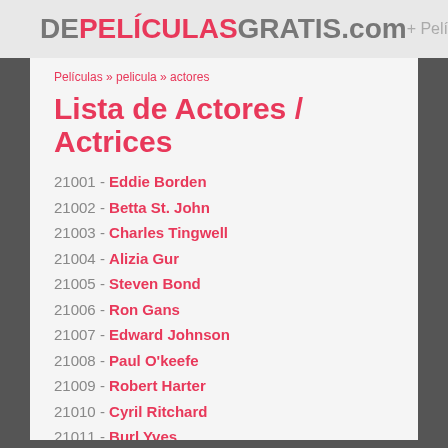DEPELÍCULASGRATIS.com  + Películas
Películas » pelicula » actores
Lista de Actores / Actrices
21001 - Eddie Borden
21002 - Betta St. John
21003 - Charles Tingwell
21004 - Alizia Gur
21005 - Steven Bond
21006 - Ron Gans
21007 - Edward Johnson
21008 - Paul O'keefe
21009 - Robert Harter
21010 - Cyril Ritchard
21011 - Burl Yves
21012 - Tallulah Bankhead
21013 - Gloria Hendrich